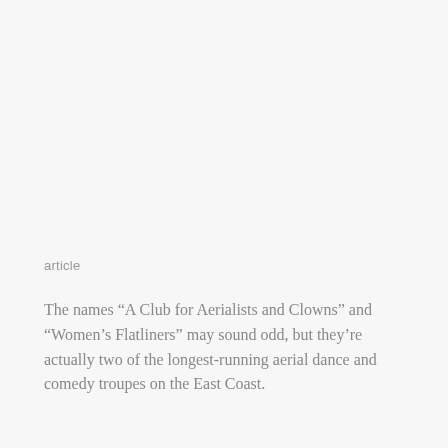article
The names “A Club for Aerialists and Clowns” and “Women’s Flatliners” may sound odd, but they’re actually two of the longest-running aerial dance and comedy troupes on the East Coast.